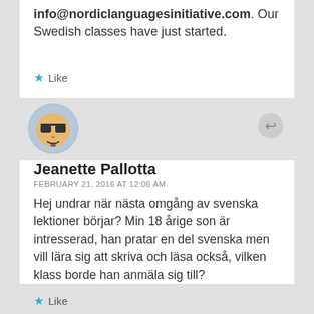Definitely contact us at info@nordiclanguagesinitiative.com. Our Swedish classes have just started.
Like
[Figure (illustration): Avatar image of a cartoon face with sunglasses]
Jeanette Pallotta
FEBRUARY 21, 2016 AT 12:06 AM
Hej undrar när nästa omgång av svenska lektioner börjar? Min 18 årige son är intresserad, han pratar en del svenska men vill lära sig att skriva och läsa också, vilken klass borde han anmäla sig till?
Like